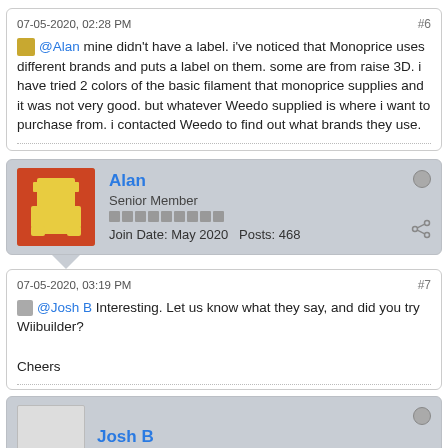07-05-2020, 02:28 PM
#6
@Alan mine didn't have a label. i've noticed that Monoprice uses different brands and puts a label on them. some are from raise 3D. i have tried 2 colors of the basic filament that monoprice supplies and it was not very good. but whatever Weedo supplied is where i want to purchase from. i contacted Weedo to find out what brands they use.
Alan
Senior Member
Join Date: May 2020    Posts: 468
07-05-2020, 03:19 PM
#7
@Josh B Interesting. Let us know what they say, and did you try Wiibuilder?

Cheers
Josh B